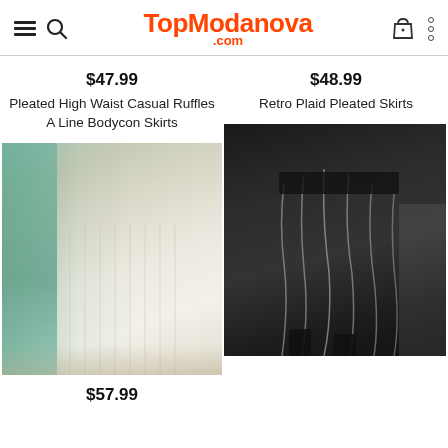TopModanova.com
$47.99
Pleated High Waist Casual Ruffles A Line Bodycon Skirts
$48.99
Retro Plaid Pleated Skirts
[Figure (photo): Woman wearing a cream ribbed pleated high waist skirt with a teal cardigan, standing near white curtains]
[Figure (photo): Woman wearing a black pleated skirt with wavy silver stripe details, standing on white stairs, wearing black boots]
$57.99